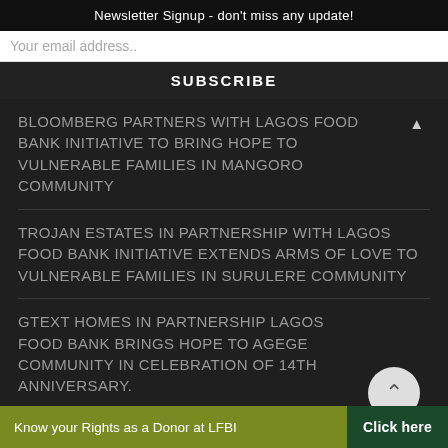Newsletter Signup - don't miss any update!
Your email address..
SUBSCRIBE
BLOOMBERG PARTNERS WITH LAGOS FOOD BANK INITIATIVE TO BRING HOPE TO VULNERABLE FAMILIES IN MANGORO COMMUNITY
TROJAN ESTATES IN PARTNERSHIP WITH LAGOS FOOD BANK INITIATIVE EXTENDS ARMS OF LOVE TO VULNERABLE FAMILIES IN SURULERE COMMUNITY
GTEXT HOMES IN PARTNERSHIP LAGOS FOOD BANK BRINGS HOPE TO AGEGE COMMUNITY IN CELEBRATION OF 14TH ANNIVERSARY.
Know your Rights as a Donor at LFBI   Click here